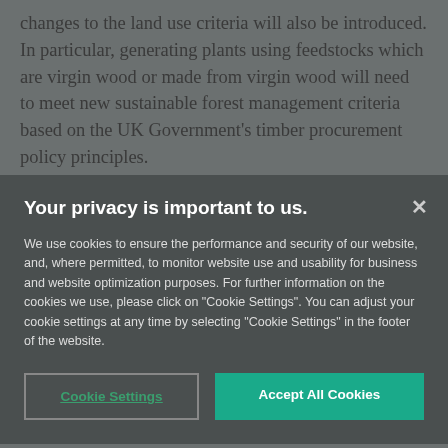changes to the land use criteria will also be introduced. In particular, generating plants using feedstocks which are virgin wood or made from virgin wood will need to meet new sustainable forest management criteria based on the UK Government's timber procurement policy principles.
The land use criteria set out in the European Union (EU Renewable Energy Directive 2009 (RED) will
Your privacy is important to us.
We use cookies to ensure the performance and security of our website, and, where permitted, to monitor website use and usability for business and website optimization purposes. For further information on the cookies we use, please click on "Cookie Settings". You can adjust your cookie settings at any time by selecting "Cookie Settings" in the footer of the website.
Cookie Settings
Accept All Cookies